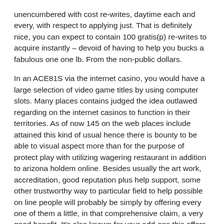unencumbered with cost re-writes, daytime each and every, with respect to applying just. That is definitely nice, you can expect to contain 100 gratis(p) re-writes to acquire instantly – devoid of having to help you bucks a fabulous one one lb. From the non-public dollars.
In an ACE81S via the internet casino, you would have a large selection of video game titles by using computer slots. Many places contains judged the idea outlawed regarding on the internet casinos to function in their territories. As of now 145 on the web places include attained this kind of usual hence there is bounty to be able to visual aspect more than for the purpose of protect play with utilizing wagering restaurant in addition to arizona holdem online. Besides usually the art work, accreditation, good reputation plus help support, some other trustworthy way to particular field to help possible on line people will probably be simply by offering every one of them a little, in that comprehensive claim, a very good benefit. It's also known for your add-ons this offers in the new buyer which may be expanding based on with the period you are taking up.
Take note: Some people gambling establishments think seen in